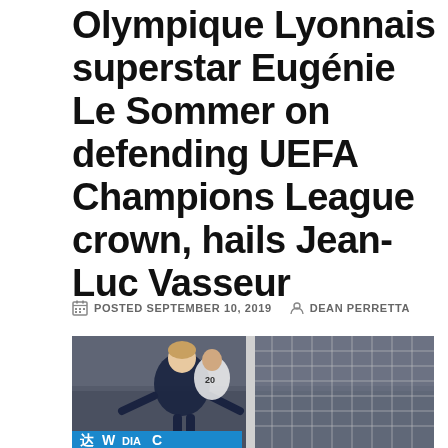Olympique Lyonnais superstar Eugénie Le Sommer on defending UEFA Champions League crown, hails Jean-Luc Vasseur
POSTED SEPTEMBER 10, 2019   DEAN PERRETTA
[Figure (photo): Soccer player in dark France jersey celebrating a goal with arms outstretched, another player in white jersey number 20 behind, goal net visible on right, crowd in background, advertising boards with Chinese text at bottom.]